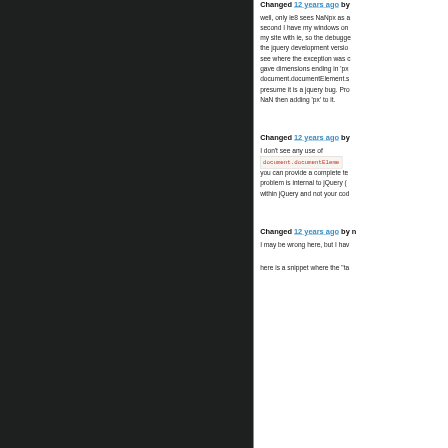Changed 12 years ago by
well, only ie8 sees NaNpx as a second I have my windows on my site with ie, so the debugge the jquery development versio see where the exception was gave dimensions ending in 'px document.documentElement.s presume it is a jquery bug. Pro NaN then adding 'px' to it.
Changed 12 years ago by
I don't see any use of document.documentElement you can provide a complete te problem is internal to jQuery ( within jQuery and not your cod
Changed 12 years ago by
I may be wrong here, but I hav
here is a snippet where the "ta